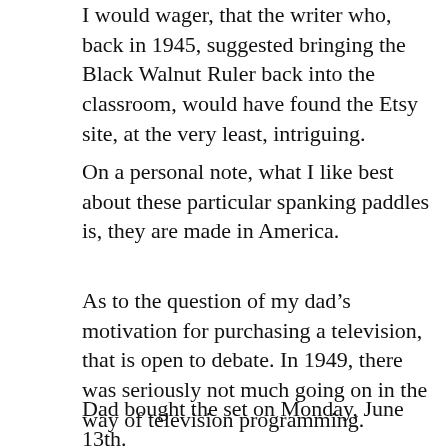I would wager, that the writer who, back in 1945, suggested bringing the Black Walnut Ruler back into the classroom, would have found the Etsy site, at the very least, intriguing.
On a personal note, what I like best about these particular spanking paddles is, they are made in America.
As to the question of my dad's motivation for purchasing a television, that is open to debate. In 1949, there was seriously not much going on in the way of television programming.
Dad bought the set on Monday, June 13th. TeleVision Guide (Later TV Guide) was launched the same next day. The next issue, and the...